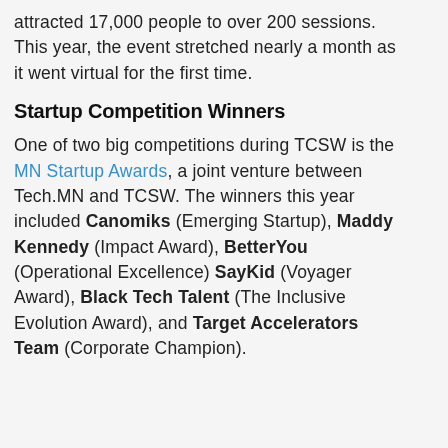attracted 17,000 people to over 200 sessions. This year, the event stretched nearly a month as it went virtual for the first time.
Startup Competition Winners
One of two big competitions during TCSW is the MN Startup Awards, a joint venture between Tech.MN and TCSW. The winners this year included Canomiks (Emerging Startup), Maddy Kennedy (Impact Award), BetterYou (Operational Excellence) SayKid (Voyager Award), Black Tech Talent (The Inclusive Evolution Award), and Target Accelerators Team (Corporate Champion).